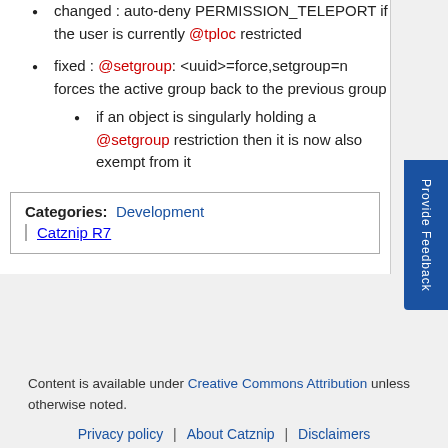changed : auto-deny PERMISSION_TELEPORT if the user is currently @tploc restricted
fixed : @setgroup: <uuid>=force,setgroup=n forces the active group back to the previous group
if an object is singularly holding a @setgroup restriction then it is now also exempt from it
Categories: Development | Catznip R7
Content is available under Creative Commons Attribution unless otherwise noted.
Privacy policy | About Catznip | Disclaimers